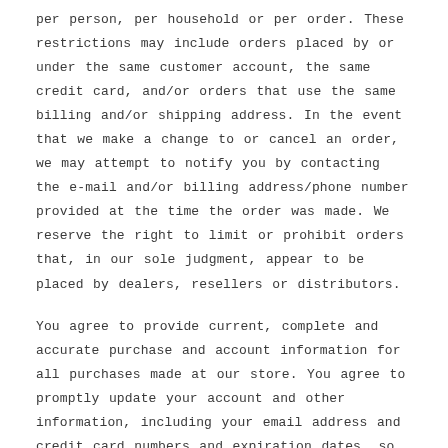per person, per household or per order. These restrictions may include orders placed by or under the same customer account, the same credit card, and/or orders that use the same billing and/or shipping address. In the event that we make a change to or cancel an order, we may attempt to notify you by contacting the e-mail and/or billing address/phone number provided at the time the order was made. We reserve the right to limit or prohibit orders that, in our sole judgment, appear to be placed by dealers, resellers or distributors.
You agree to provide current, complete and accurate purchase and account information for all purchases made at our store. You agree to promptly update your account and other information, including your email address and credit card numbers and expiration dates, so that we can complete your transactions and contact you as needed.